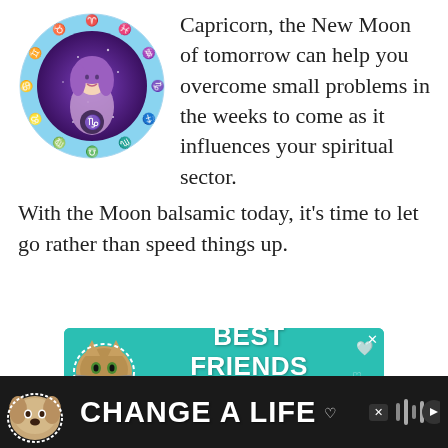[Figure (illustration): Circular zodiac wheel with Capricorn symbol, featuring a stylized woman with purple hair against a purple/blue starry background, surrounded by astrological symbols around the border]
Capricorn, the New Moon of tomorrow can help you overcome small problems in the weeks to come as it influences your spiritual sector. With the Moon balsamic today, it’s time to let go rather than speed things up.
[Figure (illustration): Advertisement banner with teal/green background showing a cat and text reading BEST FRIENDS FOREVER with heart icons and an X close button]
[Figure (illustration): Bottom advertisement banner with dark background showing a dog and text reading CHANGE A LIFE with a heart icon and close button, plus music app controls on the right]